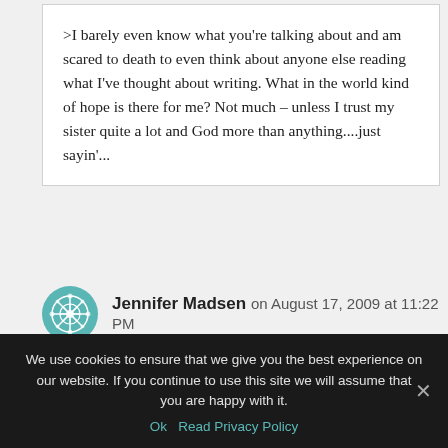>I barely even know what you're talking about and am scared to death to even think about anyone else reading what I've thought about writing. What in the world kind of hope is there for me? Not much – unless I trust my sister quite a lot and God more than anything....just sayin'...
Jennifer Madsen on August 17, 2009 at 11:22 PM
We use cookies to ensure that we give you the best experience on our website. If you continue to use this site we will assume that you are happy with it.
Ok  Read Privacy Policy